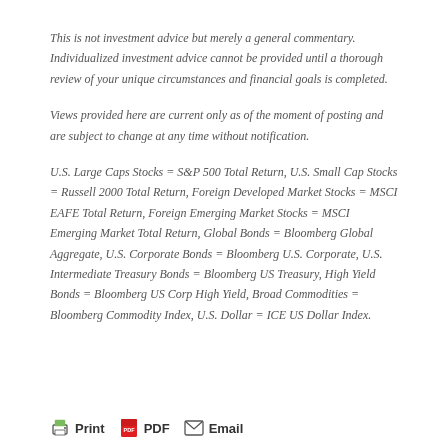This is not investment advice but merely a general commentary. Individualized investment advice cannot be provided until a thorough review of your unique circumstances and financial goals is completed.
Views provided here are current only as of the moment of posting and are subject to change at any time without notification.
U.S. Large Caps Stocks = S&P 500 Total Return, U.S. Small Cap Stocks = Russell 2000 Total Return, Foreign Developed Market Stocks = MSCI EAFE Total Return, Foreign Emerging Market Stocks = MSCI Emerging Market Total Return, Global Bonds = Bloomberg Global Aggregate, U.S. Corporate Bonds = Bloomberg U.S. Corporate, U.S. Intermediate Treasury Bonds = Bloomberg US Treasury, High Yield Bonds = Bloomberg US Corp High Yield, Broad Commodities = Bloomberg Commodity Index, U.S. Dollar = ICE US Dollar Index.
Print | PDF | Email